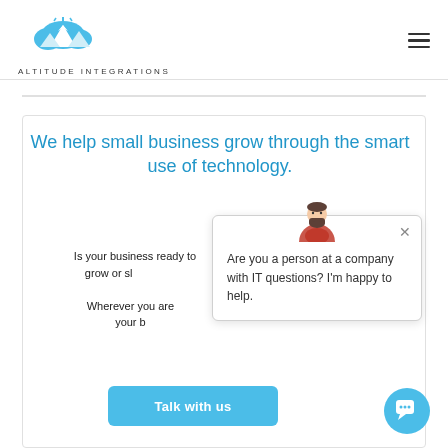[Figure (logo): Altitude Integrations logo: blue mountain/cloud icon above the text ALTITUDE INTEGRATIONS in spaced uppercase letters]
We help small business grow through the smart use of technology.
Is your business ready to grow or sl...
Wherever you are... your b...
[Figure (screenshot): Chat popup with bearded avatar icon and message: Are you a person at a company with IT questions? I'm happy to help.]
Talk with us
[Figure (other): Blue circular chat bubble button in bottom right corner]